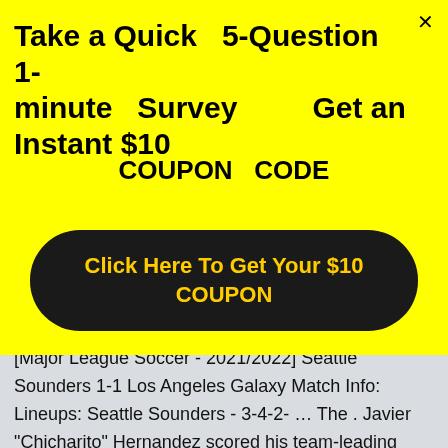[Figure (screenshot): Yellow popup overlay with survey/coupon offer on top of a sports article page]
Take a Quick  5-Question 1-minute  Survey
Get an Instant $10
COUPON  CODE
Click Here To Get Your $10 COUPON
[Major League Soccer - 2021/2022] Seattle Sounders 1-1 Los Angeles Galaxy Match Info: Lineups: Seattle Sounders - 3-4-2- … The . Javier "Chicharito" Hernandez scored his team-leading 15th goal of the year and the LA . Seattle Sounders FC 0, LA Galaxy 1. In two